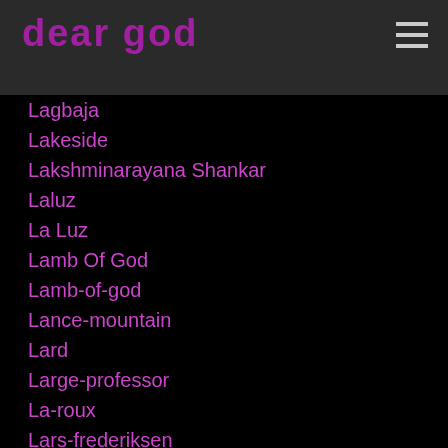dear god
Lagbaja
Lakeside
Lakshminarayana Shankar
Laluz
La Luz
Lamb Of God
Lamb-of-god
Lance-mountain
Lard
Large-professor
La-roux
Lars-frederiksen
Lars-frederiksen
Lars Ulrich
La's
Last-exit-to-brooklyn
Last-rites-gallery